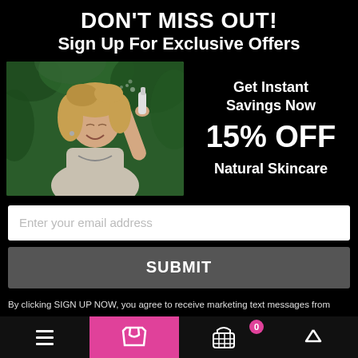DON'T MISS OUT! Sign Up For Exclusive Offers
[Figure (photo): Woman smiling with eyes closed, spraying mist from a bottle near her face, outdoors with green foliage background]
Get Instant Savings Now
15% OFF
Natural Skincare
Enter your email address
SUBMIT
By clicking SIGN UP NOW, you agree to receive marketing text messages from Clean Kiss at the number provided, including messages sent by autodialer. Consent is not a condition of any purchase. Message and data rates may apply. Message